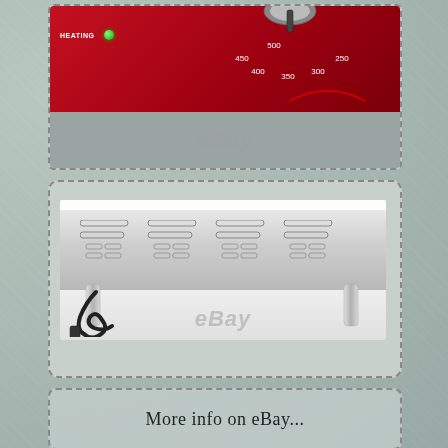[Figure (photo): Close-up photo of a red control panel of a cooking appliance showing a temperature dial with numbers 250, 300, 350, 400, 450, 500, a green HEATING indicator light, and eBay watermark on gray portion below]
[Figure (photo): Photo of the back/underside of a stainless steel commercial cooking appliance showing ventilation slots, stainless steel legs, power cord, and eBay watermark]
More info on eBay...